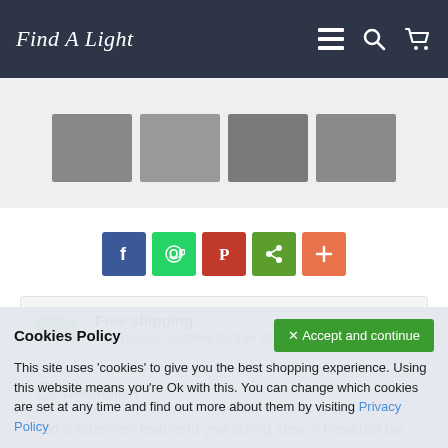Find A Light
[Figure (screenshot): Product thumbnail image strip showing multiple product images in a row]
[Figure (infographic): Social sharing buttons row: Facebook, WhatsApp, Pinterest, ShareThis, More]
Free shipping - This product qualifies for free shipping within Ireland.
Description
Add a statement feature to your dining area or breakfast bar
Cookies Policy
This site uses 'cookies' to give you the best shopping experience. Using this website means you're Ok with this. You can change which cookies are set at any time and find out more about them by visiting Privacy Policy